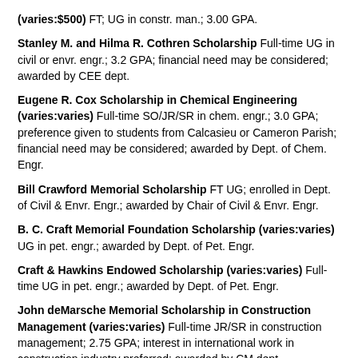(varies:$500) FT; UG in constr. man.; 3.00 GPA.
Stanley M. and Hilma R. Cothren Scholarship Full-time UG in civil or envr. engr.; 3.2 GPA; financial need may be considered; awarded by CEE dept.
Eugene R. Cox Scholarship in Chemical Engineering (varies:varies) Full-time SO/JR/SR in chem. engr.; 3.0 GPA; preference given to students from Calcasieu or Cameron Parish; financial need may be considered; awarded by Dept. of Chem. Engr.
Bill Crawford Memorial Scholarship FT UG; enrolled in Dept. of Civil & Envr. Engr.; awarded by Chair of Civil & Envr. Engr.
B. C. Craft Memorial Foundation Scholarship (varies:varies) UG in pet. engr.; awarded by Dept. of Pet. Engr.
Craft & Hawkins Endowed Scholarship (varies:varies) Full-time UG in pet. engr.; awarded by Dept. of Pet. Engr.
John deMarsche Memorial Scholarship in Construction Management (varies:varies) Full-time JR/SR in construction management; 2.75 GPA; interest in international work in construction industry preferred; awarded by CM dept.
Devon Energy Corporation Petroleum Engineering Scholarship Full-